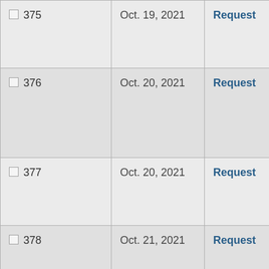| ☐ 375 | Oct. 19, 2021 | Request |
| ☐ 376 | Oct. 20, 2021 | Request |
| ☐ 377 | Oct. 20, 2021 | Request |
| ☐ 378 | Oct. 21, 2021 | Request |